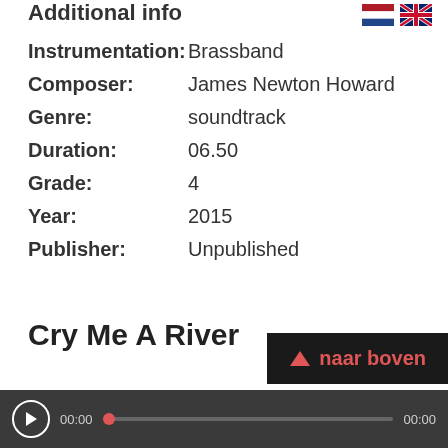Additional info
Instrumentation: Brassband
Composer: James Newton Howard
Genre: soundtrack
Duration: 06.50
Grade: 4
Year: 2015
Publisher: Unpublished
Cry Me A River
naar boven
00:00  00:00